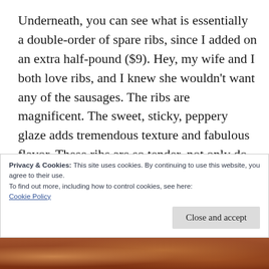Underneath, you can see what is essentially a double-order of spare ribs, since I added on an extra half-pound ($9).  Hey, my wife and I both love ribs, and I knew she wouldn't want any of the sausages.  The ribs are magnificent.  The sweet, sticky, peppery glaze adds tremendous texture and fabulous flavor.  These ribs are so tender, not only do they fall off the bone, but I swear I chewed up part of one of the bones,
Privacy & Cookies: This site uses cookies. By continuing to use this website, you agree to their use.
To find out more, including how to control cookies, see here:
Cookie Policy
Close and accept
[Figure (photo): Bottom strip showing food photo, appears to be ribs or BBQ meat, partially visible at bottom of page]